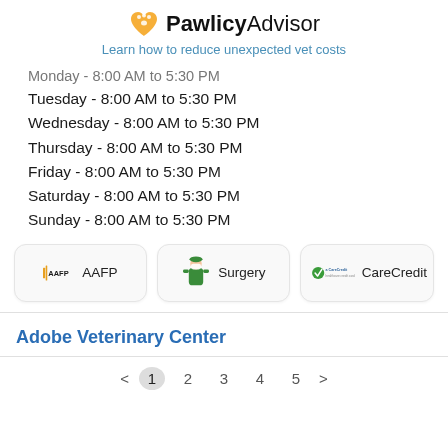PawlicyAdvisor — Learn how to reduce unexpected vet costs
Monday - 8:00 AM to 5:30 PM
Tuesday - 8:00 AM to 5:30 PM
Wednesday - 8:00 AM to 5:30 PM
Thursday - 8:00 AM to 5:30 PM
Friday - 8:00 AM to 5:30 PM
Saturday - 8:00 AM to 5:30 PM
Sunday - 8:00 AM to 5:30 PM
[Figure (infographic): Three badge cards: AAFP, Surgery, CareCredit]
Adobe Veterinary Center
< 1 2 3 4 5 >